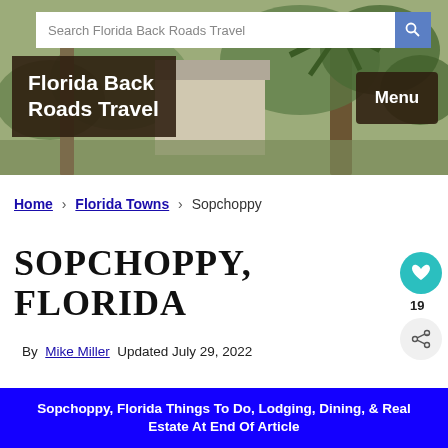[Figure (photo): Header background photo showing Florida back roads scene with trees and buildings, used as banner image for Florida Back Roads Travel website]
Search Florida Back Roads Travel
Florida Back Roads Travel
Menu
Home › Florida Towns › Sopchoppy
SOPCHOPPY, FLORIDA
By Mike Miller  Updated July 29, 2022
Sopchoppy, Florida Things To Do, Lodging, Dining, & Real Estate At End Of Article